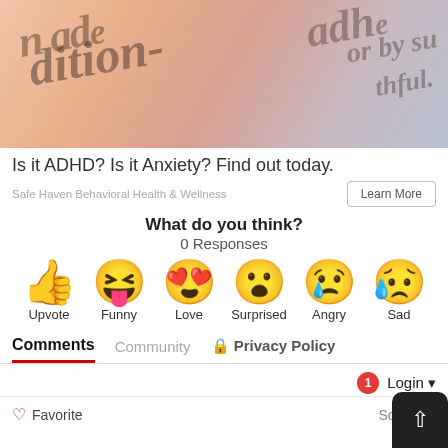[Figure (photo): Close-up photo of a dictionary or text showing the words 'addition-' and 'adh' partially visible, with warm pinkish tones — styled to evoke ADHD awareness]
Is it ADHD? Is it Anxiety? Find out today.
Safe Haven Behavioral Health & Wellness
Learn More
What do you think?
0 Responses
[Figure (infographic): Six reaction emoji in a row: thumbs up (Upvote), laughing face with tongue (Funny), heart-eyes face (Love), surprised face (Surprised), crying/angry face (Angry), sad face with tear (Sad)]
Comments   Community   🔒 Privacy Policy
1   Login ▼
🤍 Favorite
Sort by B